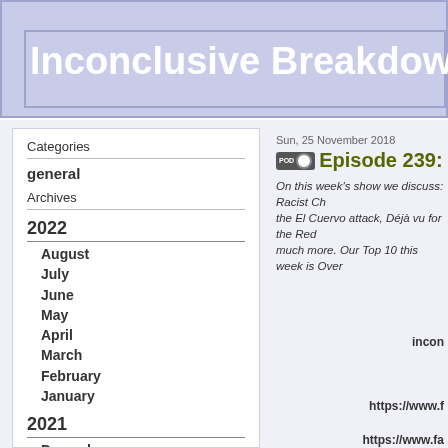Inconclusive Breakdown
Categories
general
Archives
2022
August
July
June
May
April
March
February
January
2021
December
November
October
September
August
Sun, 25 November 2018
Episode 239: You're
On this week's show we discuss: Racist Ch... the El Cuervo attack, Déjà vu for the Red... much more. Our Top 10 this week is Over...
incon
https://www.f
https://www.fa